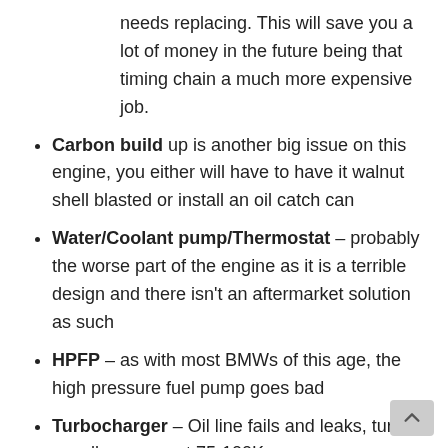needs replacing. This will save you a lot of money in the future being that timing chain a much more expensive job.
Carbon build up is another big issue on this engine, you either will have to have it walnut shell blasted or install an oil catch can
Water/Coolant pump/Thermostat – probably the worse part of the engine as it is a terrible design and there isn't an aftermarket solution as such
HPFP – as with most BMWs of this age, the high pressure fuel pump goes bad
Turbocharger – Oil line fails and leaks, turbo usually wears out 75-100K
This is because people don't properly allow the car to idle down and cool off before shutting down